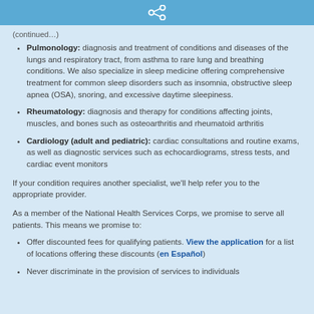[share icon]
Pulmonology: diagnosis and treatment of conditions and diseases of the lungs and respiratory tract, from asthma to rare lung and breathing conditions. We also specialize in sleep medicine offering comprehensive treatment for common sleep disorders such as insomnia, obstructive sleep apnea (OSA), snoring, and excessive daytime sleepiness.
Rheumatology: diagnosis and therapy for conditions affecting joints, muscles, and bones such as osteoarthritis and rheumatoid arthritis
Cardiology (adult and pediatric): cardiac consultations and routine exams, as well as diagnostic services such as echocardiograms, stress tests, and cardiac event monitors
If your condition requires another specialist, we'll help refer you to the appropriate provider.
As a member of the National Health Services Corps, we promise to serve all patients. This means we promise to:
Offer discounted fees for qualifying patients. View the application for a list of locations offering these discounts (en Español)
Never discriminate in the provision of services to individuals...